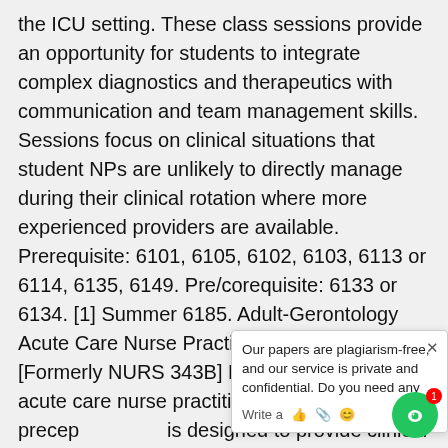the ICU setting. These class sessions provide an opportunity for students to integrate complex diagnostics and therapeutics with communication and team management skills. Sessions focus on clinical situations that student NPs are unlikely to directly manage during their clinical rotation where more experienced providers are available. Prerequisite: 6101, 6105, 6102, 6103, 6113 or 6114, 6135, 6149. Pre/corequisite: 6133 or 6134. [1] Summer 6185. Adult-Gerontology Acute Care Nurse Practitioner Preceptorship [Formerly NURS 343B] N6185 is the final acute care nurse practitioner clinical preceptorship. It is designed to provide clinical experience, and integration of the roles of the acute care nurse practitioner for students in the dual AG-ACNP/Emergency Care program. The emergency care setting will be used for application, synthesis, and evaluation of nursing theory, pathophysiologic and psychosocial concepts in planning and developing care
Our papers are plagiarism-free, and our service is private and confidential. Do you need any